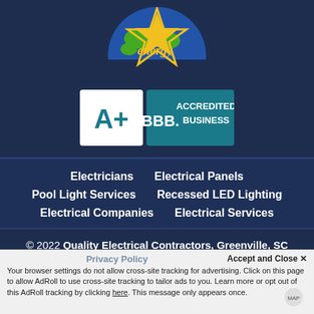[Figure (logo): Energy Star logo — globe with star and 'energy' script text]
[Figure (logo): BBB A+ Accredited Business badge — teal rectangle with A+ rating and BBB flame logo]
Electricians
Electrical Panels
Pool Light Services
Recessed LED Lighting
Electrical Companies
Electrical Services
© 2022 Quality Electrical Contractors, Greenville, SC
Privacy Policy
Accept and Close ✕
Your browser settings do not allow cross-site tracking for advertising. Click on this page to allow AdRoll to use cross-site tracking to tailor ads to you. Learn more or opt out of this AdRoll tracking by clicking here. This message only appears once.